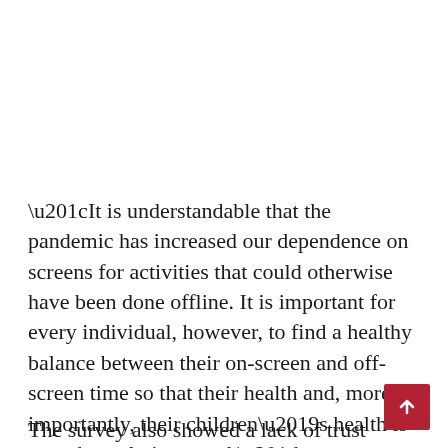“It is understandable that the pandemic has increased our dependence on screens for activities that could otherwise have been done offline. It is important for every individual, however, to find a healthy balance between their on-screen and off-screen time so that their health and, more importantly, their children’s health is not adversely impacted,” NortonLifeLock’s Director, Sales and Field Marketing, India & SAARC Countries Ritesh Chopra said in a statement.
The survey also showed a lack of trust among Indian